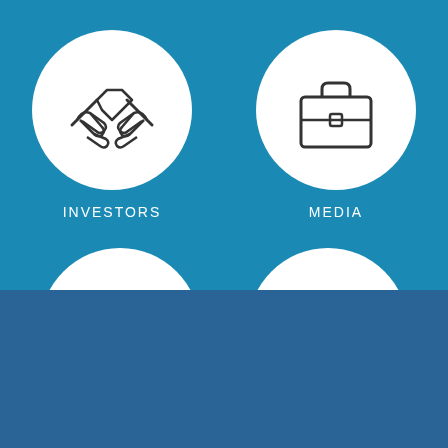[Figure (illustration): White circle with handshake icon on blue background, labeled INVESTORS]
INVESTORS
[Figure (illustration): White circle with briefcase icon on blue background, labeled MEDIA]
MEDIA
[Figure (illustration): Two partial white circles (tops) appearing at the bottom of the blue section, suggesting more navigation items below]
[Figure (illustration): Cookie consent bar with shield/lock icon, text reading We use plugi to ensu secu, and Accept all button]
We use plugi to ensu secu
Accept all